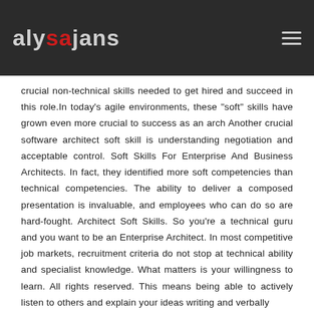alysajans
crucial non-technical skills needed to get hired and succeed in this role.In today's agile environments, these "soft" skills have grown even more crucial to success as an arch Another crucial software architect soft skill is understanding negotiation and acceptable control. Soft Skills For Enterprise And Business Architects. In fact, they identified more soft competencies than technical competencies. The ability to deliver a composed presentation is invaluable, and employees who can do so are hard-fought. Architect Soft Skills. So you're a technical guru and you want to be an Enterprise Architect. In most competitive job markets, recruitment criteria do not stop at technical ability and specialist knowledge. What matters is your willingness to learn. All rights reserved. This means being able to actively listen to others and explain your ideas writing and verbally